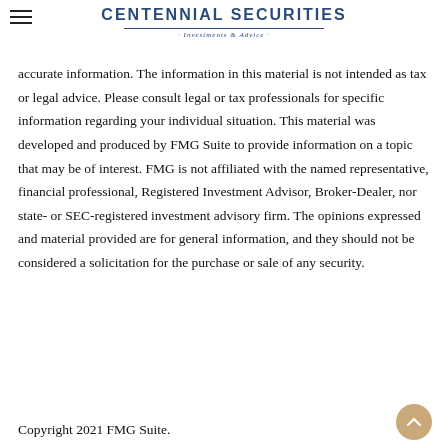Centennial Securities · Investments & Advice ·
accurate information. The information in this material is not intended as tax or legal advice. Please consult legal or tax professionals for specific information regarding your individual situation. This material was developed and produced by FMG Suite to provide information on a topic that may be of interest. FMG is not affiliated with the named representative, financial professional, Registered Investment Advisor, Broker-Dealer, nor state- or SEC-registered investment advisory firm. The opinions expressed and material provided are for general information, and they should not be considered a solicitation for the purchase or sale of any security.
Copyright 2021 FMG Suite.